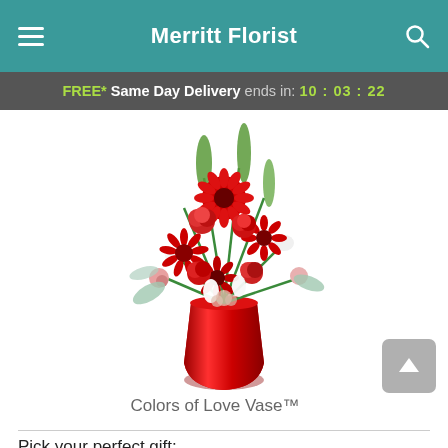Merritt Florist
FREE* Same Day Delivery ends in: 10:03:22
[Figure (photo): A floral arrangement called Colors of Love Vase showing red gerbera daisies, red carnations, white snapdragons, pink flowers and green foliage in a tall red vase.]
Colors of Love Vase™
Pick your perfect gift: